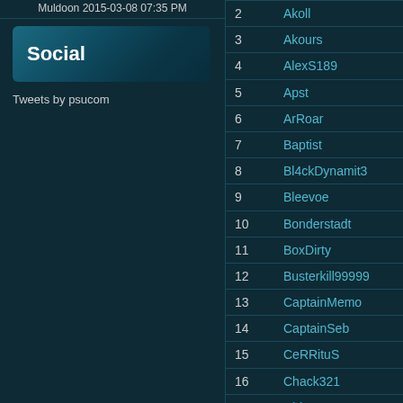Muldoon 2015-03-08 07:35 PM
Social
Tweets by psucom
| # | Name |
| --- | --- |
| 2 | Akoll |
| 3 | Akours |
| 4 | AlexS189 |
| 5 | Apst |
| 6 | ArRoar |
| 7 | Baptist |
| 8 | Bl4ckDynamit3 |
| 9 | Bleevoe |
| 10 | Bonderstadt |
| 11 | BoxDirty |
| 12 | Busterkill99999 |
| 13 | CaptainMemo |
| 14 | CaptainSeb |
| 15 | CeRRituS |
| 16 | Chack321 |
| 17 | ChieLOL3 |
| 18 | CJScott |